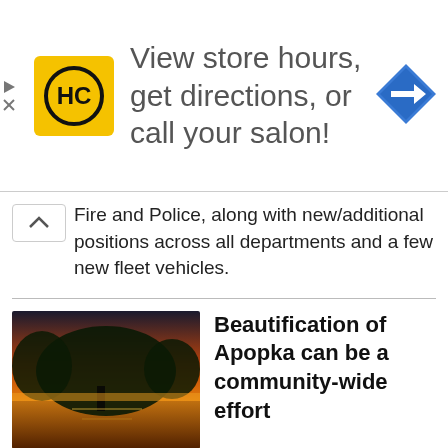[Figure (infographic): Advertisement banner: HC logo (yellow square with HC text), text 'View store hours, get directions, or call your salon!', blue navigation arrow icon on the right. Small play and close icons on the left edge.]
Fire and Police, along with new/additional positions across all departments and a few new fleet vehicles.
[Figure (photo): Outdoor sunset landscape photo showing trees silhouetted against an orange and yellow sky, with water reflection below.]
Beautification of Apopka can be a community-wide effort
Apopka is home for so many of us and deserves to be properly maintained and cared for. I encourage our citizens to get involved however they can in enhancing our great city.